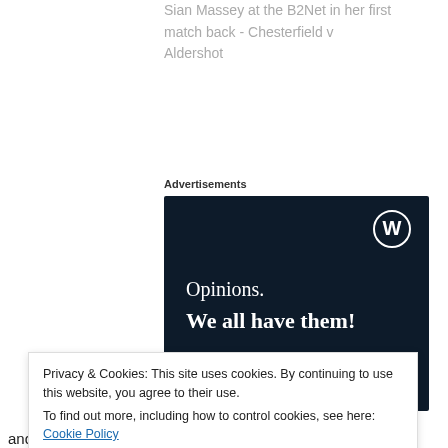Sian Massey at the B2Net in her first match back - Chesterfield v Aldershot
Advertisements
[Figure (screenshot): Advertisement banner with dark navy background, WordPress logo in top right, text 'Opinions. We all have them!' in white serif font, pink button bar at bottom left, white circle at bottom right.]
Privacy & Cookies: This site uses cookies. By continuing to use this website, you agree to their use.
To find out more, including how to control cookies, see here: Cookie Policy
and it was sure to be an exciting end to the season